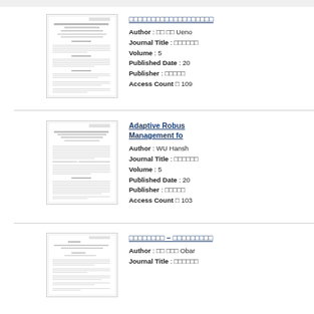[Figure (screenshot): Thumbnail of a Japanese academic paper page]
Article title in Japanese characters
Author : □□ □□ Ueno
Journal Title : □□□□□
Volume : 5
Published Date : 20
Publisher : □□□□□
Access Count □ 109
[Figure (screenshot): Thumbnail of academic paper: Adaptive Robust... Management fo...]
Adaptive Robus... Management fo...
Author : WU Hansh
Journal Title : □□□□□
Volume : 5
Published Date : 20
Publisher : □□□□□
Access Count □ 103
[Figure (screenshot): Thumbnail of a Japanese academic paper]
□□□□□□□□ - □□□□□□□□
Author : □□ □□□ Obar
Journal Title : □□□□□